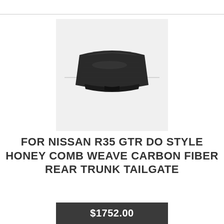[Figure (photo): Product photo of a carbon fiber rear trunk tailgate for Nissan R35 GTR, shown on a light gray background. The part is dark/black with a curved rectangular shape and carbon fiber weave texture.]
FOR NISSAN R35 GTR DO STYLE HONEY COMB WEAVE CARBON FIBER REAR TRUNK TAILGATE
$1752.00